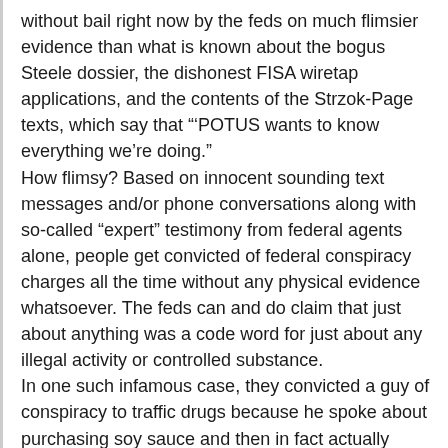without bail right now by the feds on much flimsier evidence than what is known about the bogus Steele dossier, the dishonest FISA wiretap applications, and the contents of the Strzok-Page texts, which say that "'POTUS wants to know everything we're doing."
How flimsy? Based on innocent sounding text messages and/or phone conversations along with so-called "expert" testimony from federal agents alone, people get convicted of federal conspiracy charges all the time without any physical evidence whatsoever. The feds can and do claim that just about anything was a code word for just about any illegal activity or controlled substance.
In one such infamous case, they convicted a guy of conspiracy to traffic drugs because he spoke about purchasing soy sauce and then in fact actually purchased soy sauce. However, a DEA agent told jurors that in his "professional experience," he was sure that "soy sauce" was code for drugs. The jury